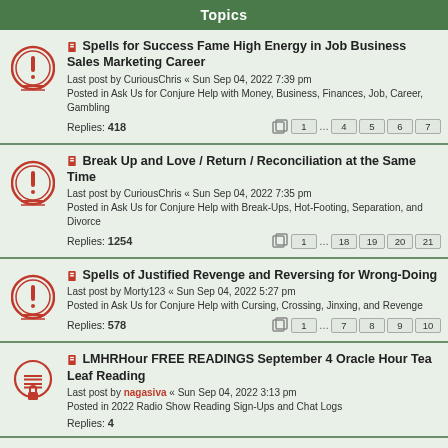Topics
Spells for Success Fame High Energy in Job Business Sales Marketing Career
Last post by CuriousChris « Sun Sep 04, 2022 7:39 pm
Posted in Ask Us for Conjure Help with Money, Business, Finances, Job, Career, Gambling
Replies: 418
Pages: 1 ... 4 5 6 7
Break Up and Love / Return / Reconciliation at the Same Time
Last post by CuriousChris « Sun Sep 04, 2022 7:35 pm
Posted in Ask Us for Conjure Help with Break-Ups, Hot-Footing, Separation, and Divorce
Replies: 1254
Pages: 1 ... 18 19 20 21
Spells of Justified Revenge and Reversing for Wrong-Doing
Last post by Morty123 « Sun Sep 04, 2022 5:27 pm
Posted in Ask Us for Conjure Help with Cursing, Crossing, Jinxing, and Revenge
Replies: 578
Pages: 1 ... 7 8 9 10
LMHRHour FREE READINGS September 4 Oracle Hour Tea Leaf Reading
Last post by nagasiva « Sun Sep 04, 2022 3:13 pm
Posted in 2022 Radio Show Reading Sign-Ups and Chat Logs
Replies: 4
LMHRHour FREE READINGS September 11, 2022
Last post by nagasiva « Sun Sep 04, 2022 3:12 pm
Posted in 2022 Radio Show Reading Sign-Ups and Chat Logs